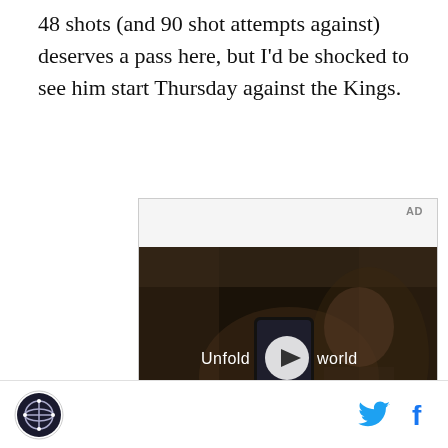48 shots (and 90 shot attempts against) deserves a pass here, but I'd be shocked to see him start Thursday against the Kings.
[Figure (screenshot): Advertisement video player showing Samsung 'Unfold your world' ad with a woman in a car holding a foldable phone. Play button overlay visible in center. Samsung logo at bottom.]
Site logo, Twitter icon, Facebook icon